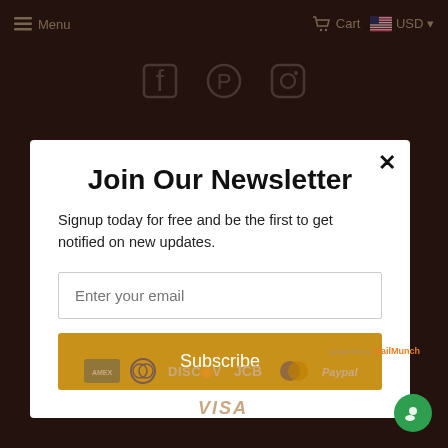Menu   Cart   USD
[Figure (screenshot): Social media icons: Facebook, Pinterest, Instagram on dark brown background]
Join Our Newsletter
Signup today for free and be the first to get notified on new updates.
Enter your email
Subscribe
[Figure (screenshot): Payment method icons: American Express, Diners Club, Discover, JCB, Mastercard, PayPal, Visa. Powered by MailMunch branding.]